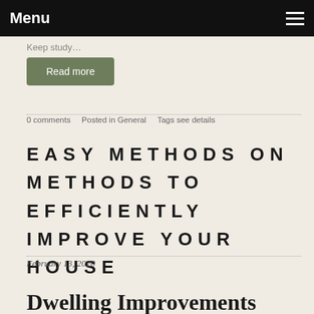Menu
Keep study…
Read more
0 comments   Posted in General   Tags see details
EASY METHODS ON METHODS TO EFFICIENTLY IMPROVE YOUR HOUSE
February 13, 2020
Dwelling Improvements